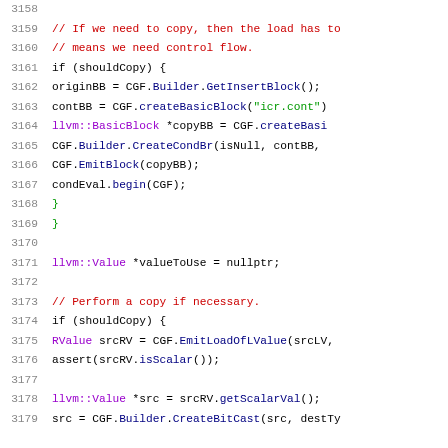[Figure (screenshot): Source code listing in C++ showing lines 3158-3179 of a code file, with syntax highlighting. Comments in red, strings in green, namespaced types in purple.]